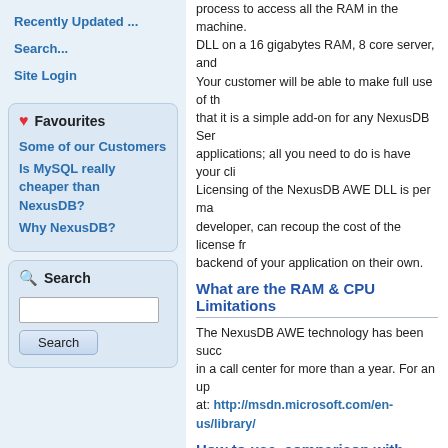Recently Updated ...
Search...
Site Login
Favourites
Some of our Customers
Is MySQL really cheaper than NexusDB?
Why NexusDB?
Search
process to access all the RAM in the machine. DLL on a 16 gigabytes RAM, 8 core server, and Your customer will be able to make full use of th that it is a simple add-on for any NexusDB Ser applications; all you need to do is have your cli Licensing of the NexusDB AWE DLL is per ma developer, can recoup the cost of the license fr backend of your application on their own.
What are the RAM & CPU Limitations
The NexusDB AWE technology has been succ in a call center for more than a year. For an up at: http://msdn.microsoft.com/en-us/library/
How to use, comparison with standard s
For detailed information on the NexusDB AWE The AWE nxServer.pdf
‹ Tools
🖨 | 🖫 | 🅰 | Tags: